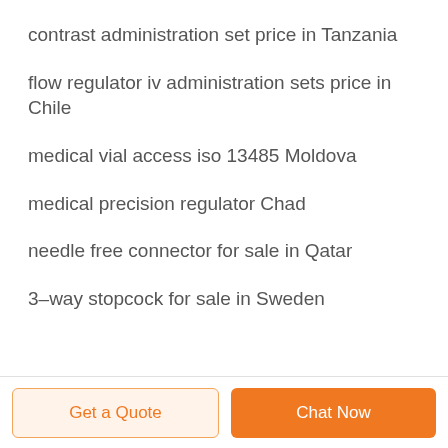contrast administration set price in Tanzania
flow regulator iv administration sets price in Chile
medical vial access iso 13485 Moldova
medical precision regulator Chad
needle free connector for sale in Qatar
3–way stopcock for sale in Sweden
Get a Quote   Chat Now